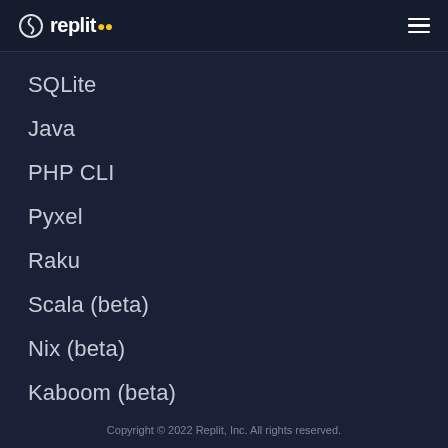replit
SQLite
Java
PHP CLI
Pyxel
Raku
Scala (beta)
Nix (beta)
Kaboom (beta)
Copyright © 2022 Replit, Inc. All rights reserved.